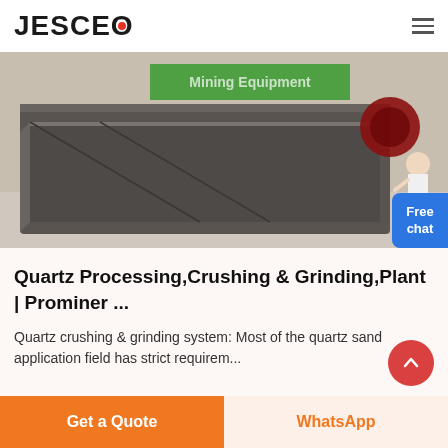JESCO
[Figure (photo): Industrial mining equipment - large grey metal machine (quartz processing/grinding plant) photographed outdoors. Green banner visible in background reading 'Mining Equipment'. A person in white lab coat visible at right side.]
Quartz Processing,Crushing & Grinding,Plant | Prominer ...
Quartz crushing & grinding system: Most of the quartz sand application field has strict requirem...
Get a Quote | WhatsApp